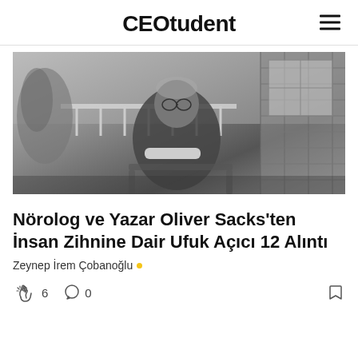CEOtudent
[Figure (photo): Black and white photo of an elderly man sitting in a rocking chair on a porch, holding a rolled document or paper, wearing glasses and a dark short-sleeve shirt.]
Nörolog ve Yazar Oliver Sacks'ten İnsan Zihnine Dair Ufuk Açıcı 12 Alıntı
Zeynep İrem Çobanoğlu
6  0